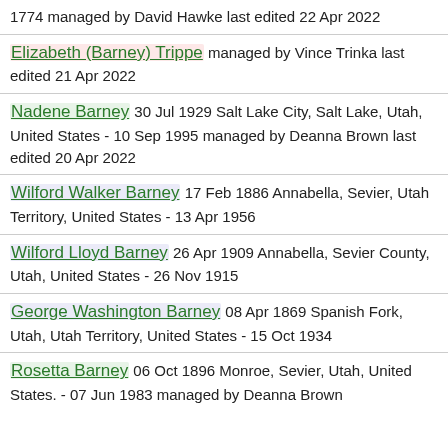1774 managed by David Hawke last edited 22 Apr 2022
Elizabeth (Barney) Trippe managed by Vince Trinka last edited 21 Apr 2022
Nadene Barney 30 Jul 1929 Salt Lake City, Salt Lake, Utah, United States - 10 Sep 1995 managed by Deanna Brown last edited 20 Apr 2022
Wilford Walker Barney 17 Feb 1886 Annabella, Sevier, Utah Territory, United States - 13 Apr 1956
Wilford Lloyd Barney 26 Apr 1909 Annabella, Sevier County, Utah, United States - 26 Nov 1915
George Washington Barney 08 Apr 1869 Spanish Fork, Utah, Utah Territory, United States - 15 Oct 1934
Rosetta Barney 06 Oct 1896 Monroe, Sevier, Utah, United States. - 07 Jun 1983 managed by Deanna Brown